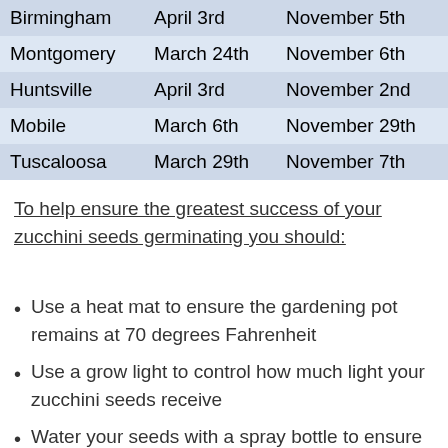| City | Last Frost Date | First Frost Date |
| --- | --- | --- |
| Birmingham | April 3rd | November 5th |
| Montgomery | March 24th | November 6th |
| Huntsville | April 3rd | November 2nd |
| Mobile | March 6th | November 29th |
| Tuscaloosa | March 29th | November 7th |
To help ensure the greatest success of your zucchini seeds germinating you should:
Use a heat mat to ensure the gardening pot remains at 70 degrees Fahrenheit
Use a grow light to control how much light your zucchini seeds receive
Water your seeds with a spray bottle to ensure your seeds are not overwatered